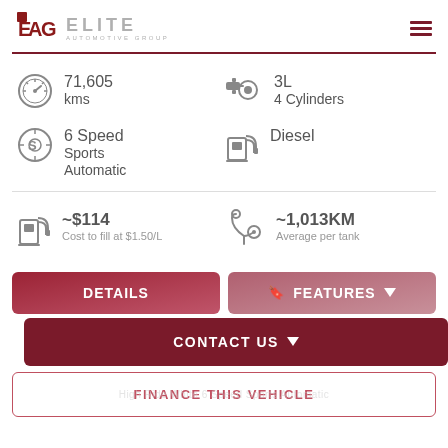[Figure (logo): EAG Elite Automotive Group logo with red shield icon and grey text]
71,605 kms
3L 4 Cylinders
6 Speed Sports Automatic
Diesel
~$114
Cost to fill at $1.50/L
~1,013KM
Average per tank
DETAILS
FEATURES
CONTACT US
FINANCE THIS VEHICLE